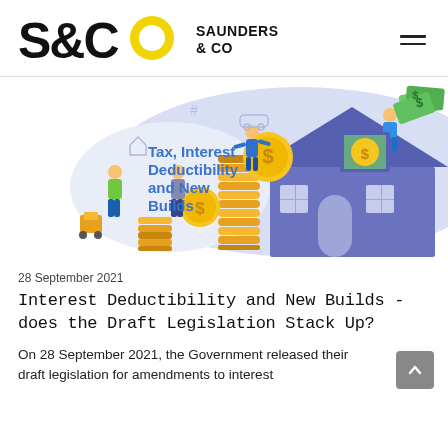Saunders & Co
[Figure (illustration): Illustrated infographic showing people with gold coins and dollar bills around a purple house, with text 'Tax, Interest Deductibility and New Builds']
28 September 2021
Interest Deductibility and New Builds - does the Draft Legislation Stack Up?
On 28 September 2021, the Government released their draft legislation for amendments to interest